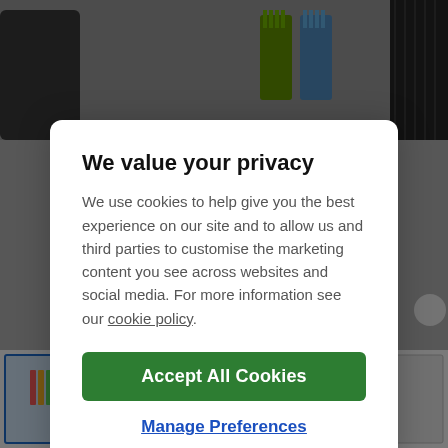[Figure (screenshot): Background showing hair clipper product page with colored comb attachments and product thumbnails]
We value your privacy
We use cookies to help give you the best experience on our site and to allow us and third parties to customise the marketing content you see across websites and social media. For more information see our cookie policy.
Accept All Cookies
Manage Preferences